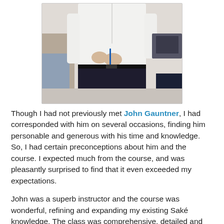[Figure (photo): A photo of a person wearing a white long-sleeve shirt and dark pants, standing in what appears to be a classroom or office setting, holding a pen.]
Though I had not previously met John Gauntner, I had corresponded with him on several occasions, finding him personable and generous with his time and knowledge. So, I had certain preconceptions about him and the course. I expected much from the course, and was pleasantly surprised to find that it even exceeded my expectations.
John was a superb instructor and the course was wonderful, refining and expanding my existing Saké knowledge. The class was comprehensive, detailed and John added plenty of interesting anecdotes. The tastings were especially compelling, with intriguing comparison tastings that truly